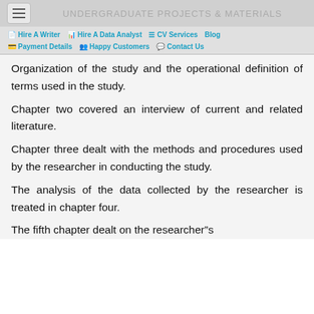UNDERGRADUATE PROJECTS & MATERIALS
Organization of the study and the operational definition of terms used in the study.
Chapter two covered an interview of current and related literature.
Chapter three dealt with the methods and procedures used by the researcher in conducting the study.
The analysis of the data collected by the researcher is treated in chapter four.
The fifth chapter dealt on the researcher’s